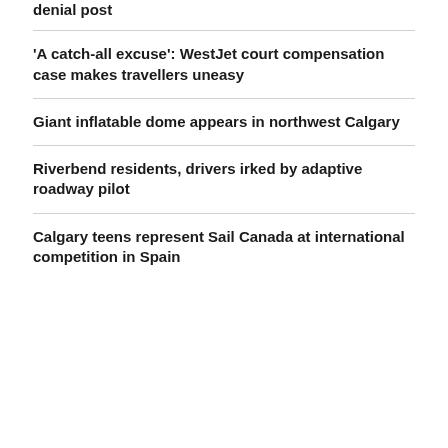denial post
'A catch-all excuse': WestJet court compensation case makes travellers uneasy
Giant inflatable dome appears in northwest Calgary
Riverbend residents, drivers irked by adaptive roadway pilot
Calgary teens represent Sail Canada at international competition in Spain